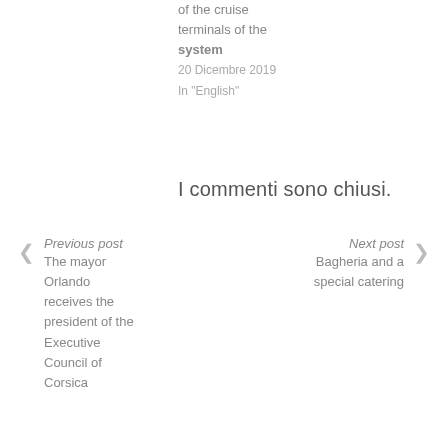of the cruise terminals of the system
20 Dicembre 2019
In "English"
I commenti sono chiusi.
Previous post
The mayor Orlando receives the president of the Executive Council of Corsica
Next post
Bagheria and a special catering